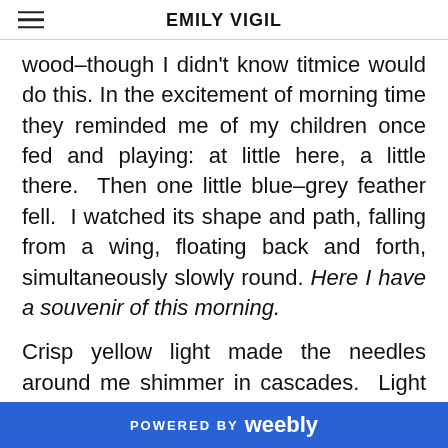EMILY VIGIL
wood–though I didn't know titmice would do this. In the excitement of morning time they reminded me of my children once fed and playing: at little here, a little there. Then one little blue–grey feather fell. I watched its shape and path, falling from a wing, floating back and forth, simultaneously slowly round. Here I have a souvenir of this morning.
Crisp yellow light made the needles around me shimmer in cascades. Light glinted off the sap of some knotty,
POWERED BY weebly